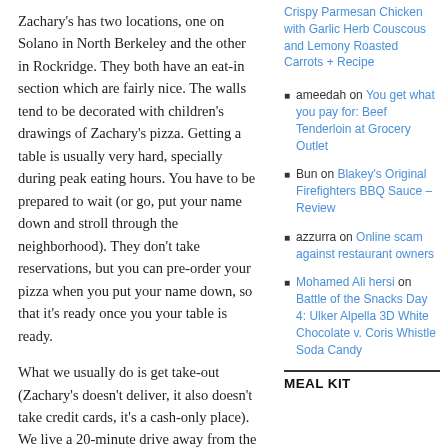Zachary's has two locations, one on Solano in North Berkeley and the other in Rockridge. They both have an eat-in section which are fairly nice. The walls tend to be decorated with children's drawings of Zachary's pizza. Getting a table is usually very hard, specially during peak eating hours. You have to be prepared to wait (or go, put your name down and stroll through the neighborhood). They don't take reservations, but you can pre-order your pizza when you put your name down, so that it's ready once you your table is ready.
What we usually do is get take-out (Zachary's doesn't deliver, it also doesn't take credit cards, it's a cash-only place). We live a 20-minute drive away from the closest Zachary's (the one in Rockridge) but the pizza is still warm by the time we get it here. My favorite pizza in the
Crispy Parmesan Chicken with Garlic Herb Couscous and Lemony Roasted Carrots + Recipe
ameedah on You get what you pay for: Beef Tenderloin at Grocery Outlet
Bun on Blakey's Original Firefighters BBQ Sauce – Review
azzurra on Online scam against restaurant owners
Mohamed Ali hersi on Battle of the Snacks Day 4: Ulker Alpella 3D White Chocolate v. Coris Whistle Soda Candy
MEAL KIT